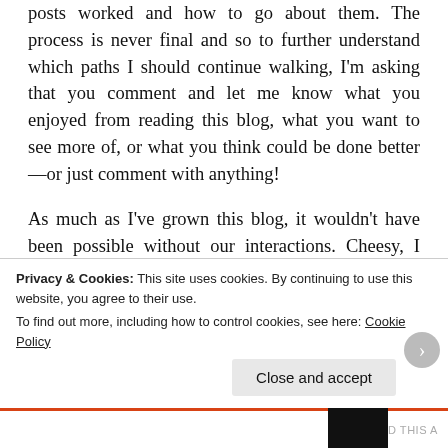posts worked and how to go about them. The process is never final and so to further understand which paths I should continue walking, I'm asking that you comment and let me know what you enjoyed from reading this blog, what you want to see more of, or what you think could be done better—or just comment with anything!
As much as I've grown this blog, it wouldn't have been possible without our interactions. Cheesy, I know. But topic tags like He Said, She Said and the various Think Aloud discussions, amongst others, were all spawned by discussions we've had through countless forums; curated to be something half-worthy of being talked about. So while it's
Privacy & Cookies: This site uses cookies. By continuing to use this website, you agree to their use.
To find out more, including how to control cookies, see here: Cookie Policy
Close and accept